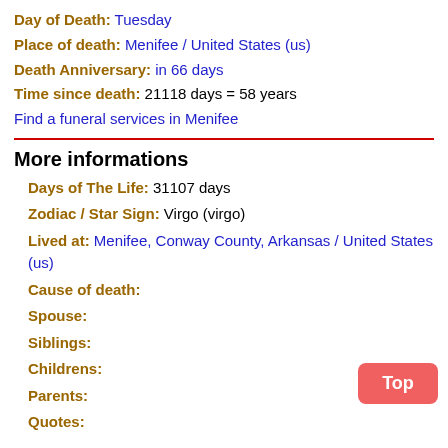Day of Death: Tuesday
Place of death: Menifee / United States (us)
Death Anniversary:  in 66 days
Time since death: 21118 days = 58 years
Find a funeral services in Menifee
More informations
Days of The Life: 31107 days
Zodiac / Star Sign: Virgo (virgo)
Lived at: Menifee, Conway County, Arkansas / United States (us)
Cause of death:
Spouse:
Siblings:
Childrens:
Parents:
Quotes:
Biography and Life edit